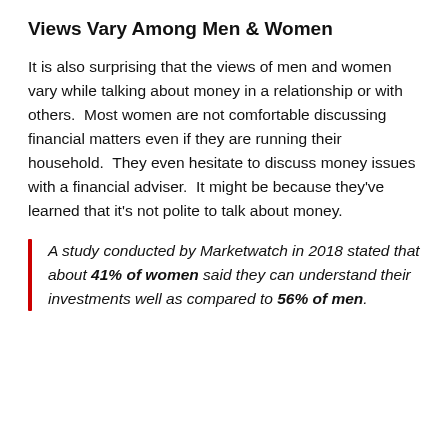Views Vary Among Men & Women
It is also surprising that the views of men and women vary while talking about money in a relationship or with others.  Most women are not comfortable discussing financial matters even if they are running their household.  They even hesitate to discuss money issues with a financial adviser.  It might be because they’ve learned that it’s not polite to talk about money.
A study conducted by Marketwatch in 2018 stated that about 41% of women said they can understand their investments well as compared to 56% of men.